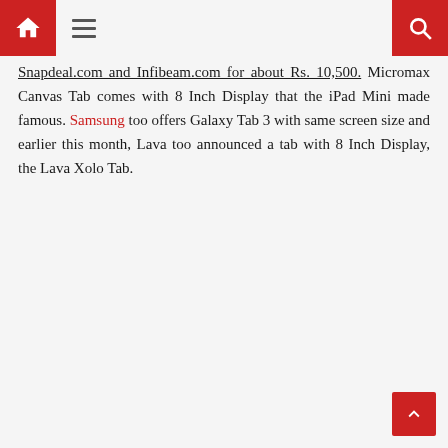[Home icon] [Menu icon] [Search icon]
Snapdeal.com and Infibeam.com for about Rs. 10,500. Micromax Canvas Tab comes with 8 Inch Display that the iPad Mini made famous. Samsung too offers Galaxy Tab 3 with same screen size and earlier this month, Lava too announced a tab with 8 Inch Display, the Lava Xolo Tab.